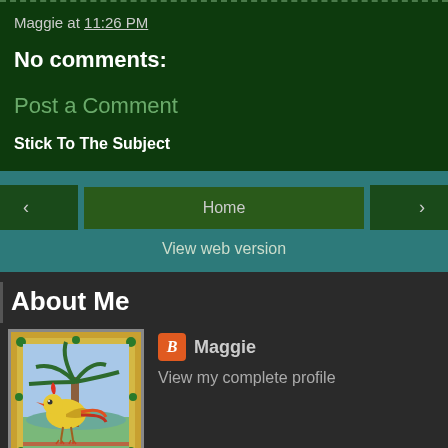Maggie at 11:26 PM
No comments:
Post a Comment
Stick To The Subject
< Home >
View web version
About Me
[Figure (illustration): Profile image showing a decorative illustration with a bird/rooster and tropical plants on a colorful background with a red and yellow border]
Maggie
View my complete profile
Powered by Blogger.